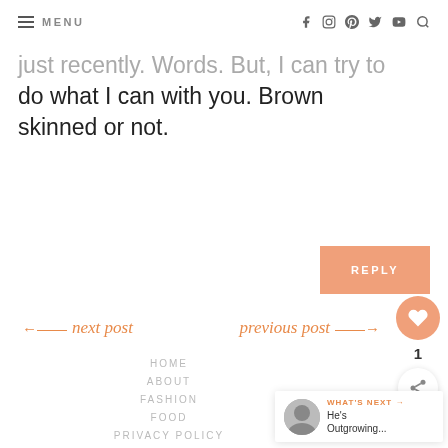MENU | social icons: facebook, instagram, pinterest, twitter, youtube, search
just recently. Words. But, I can try to do what I can with you. Brown skinned or not.
REPLY
← next post
previous post →
HOME
ABOUT
FASHION
FOOD
PRIVACY POLICY
© 4 HATS AND FRUGAL 2022